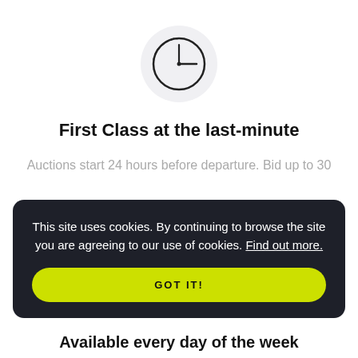[Figure (illustration): A clock icon inside a light gray circle, showing approximately 3 o'clock with dotted arc in upper-left portion]
First Class at the last-minute
Auctions start 24 hours before departure. Bid up to 30
This site uses cookies. By continuing to browse the site you are agreeing to our use of cookies. Find out more.
GOT IT!
Available every day of the week